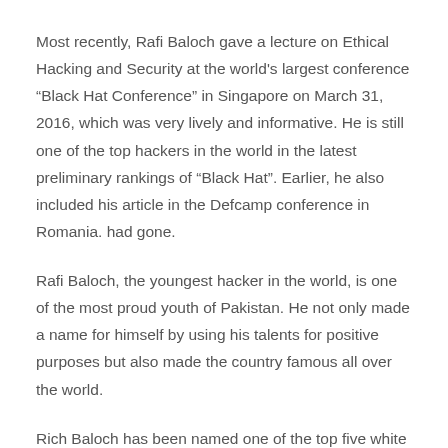Most recently, Rafi Baloch gave a lecture on Ethical Hacking and Security at the world's largest conference “Black Hat Conference” in Singapore on March 31, 2016, which was very lively and informative. He is still one of the top hackers in the world in the latest preliminary rankings of “Black Hat”. Earlier, he also included his article in the Defcamp conference in Romania. had gone.
Rafi Baloch, the youngest hacker in the world, is one of the most proud youth of Pakistan. He not only made a name for himself by using his talents for positive purposes but also made the country famous all over the world.
Rich Baloch has been named one of the top five white hackers in the world in 2014 by the security publishing company Chekmarkx. White hackers are also called ethical hackers. They enter a server or network within the ambit of the law and tell its owners about the security holes in that server network or their security. Remove the h...